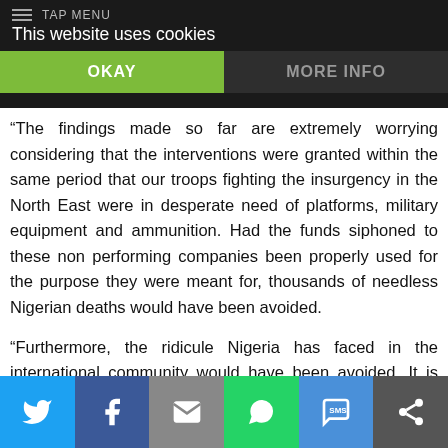This website uses cookies | OKAY | MORE INFO
“The findings made so far are extremely worrying considering that the interventions were granted within the same period that our troops fighting the insurgency in the North East were in desperate need of platforms, military equipment and ammunition. Had the funds siphoned to these non performing companies been properly used for the purpose they were meant for, thousands of needless Nigerian deaths would have been avoided.
“Furthermore, the ridicule Nigeria has faced in the international community would have been avoided. It is worrisome and disappointing that those entrusted with the security of this great nation were busy using proxies to siphon the national treasury,
Twitter | Facebook | Email | WhatsApp | SMS | More